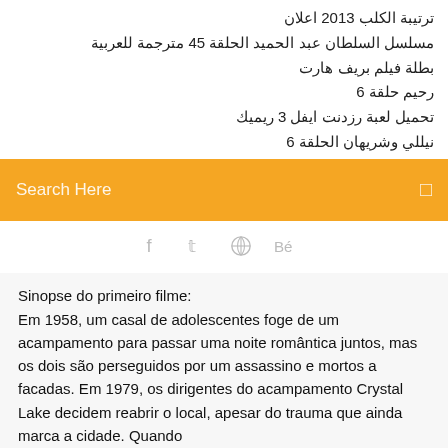ترتيبة الكلب 2013 اعلان
مسلسل السلطان عبد الحميد الحلقة 45 مترجمة للعربية
بطلة فيلم بريف هارت
رحيم حلقة 6
تحميل لعبة رزدنت ايفل 3 ريميك
نيللي وشريهان الحلقة 6
Search Here
Sinopse do primeiro filme:
Em 1958, um casal de adolescentes foge de um acampamento para passar uma noite romântica juntos, mas os dois são perseguidos por um assassino e mortos a facadas. Em 1979, os dirigentes do acampamento Crystal Lake decidem reabrir o local, apesar do trauma que ainda marca a cidade. Quando